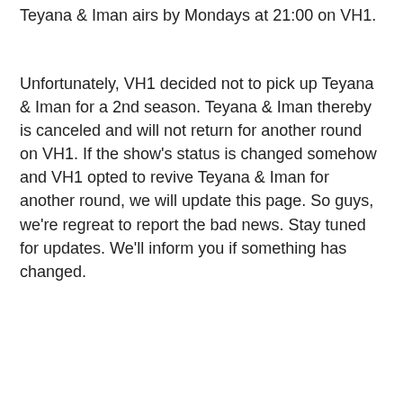Teyana & Iman airs by Mondays at 21:00 on VH1.
Unfortunately, VH1 decided not to pick up Teyana & Iman for a 2nd season. Teyana & Iman thereby is canceled and will not return for another round on VH1. If the show's status is changed somehow and VH1 opted to revive Teyana & Iman for another round, we will update this page. So guys, we're regreat to report the bad news. Stay tuned for updates. We'll inform you if something has changed.